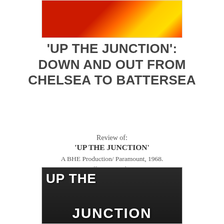[Figure (photo): Top image showing red, orange, and yellow abstract/flag colors]
'UP THE JUNCTION': DOWN AND OUT FROM CHELSEA TO BATTERSEA
Review of:
'UP THE JUNCTION'
A BHE Production/ Paramount, 1968. Director: Peter Collinson. With Dennis Waterman, Suzy Kendall, Adrienne Posta and Maureen Lipman (DVD, 2008, Paramount Pictures DVD)
[Figure (photo): Black and white movie poster for 'Up the Junction' showing the film title text]